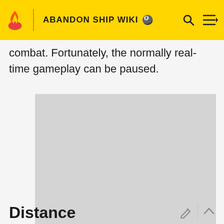ABANDON SHIP WIKI
combat. Fortunately, the normally real-time gameplay can be paused.
[Figure (other): Advertisement placeholder — grey rectangle]
ADVERTISEMENT
Distance